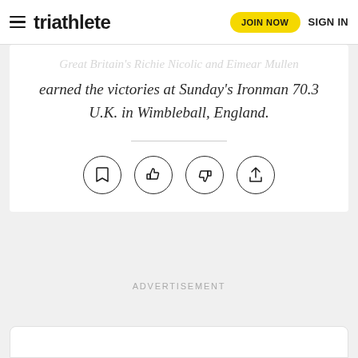triathlete | JOIN NOW | SIGN IN
Great Britain's Richie Nicolic and Eimear Mullen earned the victories at Sunday's Ironman 70.3 U.K. in Wimbleball, England.
[Figure (infographic): Four circular icon buttons: bookmark, thumbs up, thumbs down, share]
ADVERTISEMENT